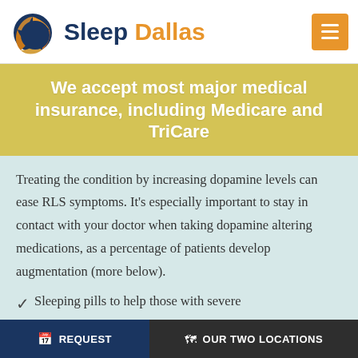[Figure (logo): Sleep Dallas logo with circular orange/blue icon and brand name]
We accept most major medical insurance, including Medicare and TriCare
Treating the condition by increasing dopamine levels can ease RLS symptoms. It's especially important to stay in contact with your doctor when taking dopamine altering medications, as a percentage of patients develop augmentation (more below).
Sleeping pills to help those with severe
REQUEST   OUR TWO LOCATIONS